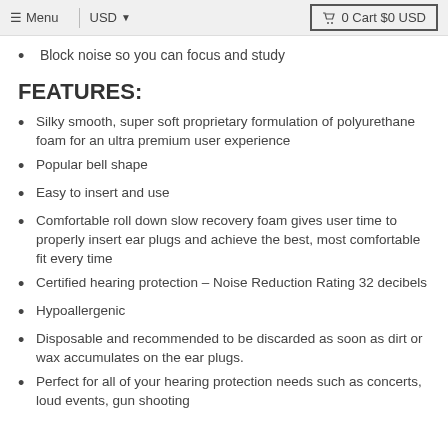≡ Menu  |  USD ▼     🛒 0 Cart $0 USD
Block noise so you can focus and study
FEATURES:
Silky smooth, super soft proprietary formulation of polyurethane foam for an ultra premium user experience
Popular bell shape
Easy to insert and use
Comfortable roll down slow recovery foam gives user time to properly insert ear plugs and achieve the best, most comfortable fit every time
Certified hearing protection – Noise Reduction Rating 32 decibels
Hypoallergenic
Disposable and recommended to be discarded as soon as dirt or wax accumulates on the ear plugs.
Perfect for all of your hearing protection needs such as concerts, loud events, gun shooting